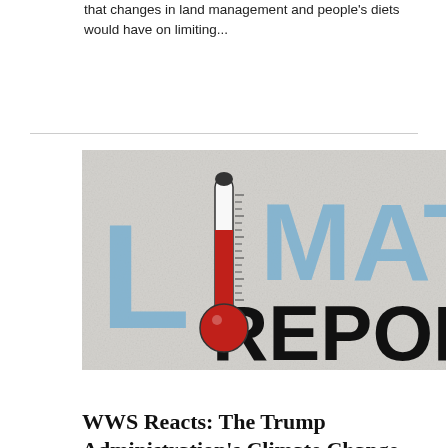that changes in land management and people's diets would have on limiting...
[Figure (illustration): Climate Report graphic featuring a red thermometer with tick marks and large blue letters spelling 'CLIMATE REPORT' on a textured light background.]
News   NOV 28 2018
WWS Reacts: The Trump Administration's Climate Change